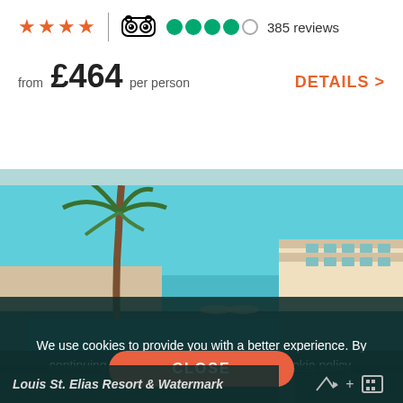4 stars | TripAdvisor 4/5 circles | 385 reviews
from £464 per person
DETAILS >
[Figure (photo): Hotel resort photo with palm trees, blue sky, white buildings and a pool in the foreground]
We use cookies to provide you with a better experience. By continuing to use our site you accept our cookie policy.
CLOSE
Louis St. Elias Resort & Watermark